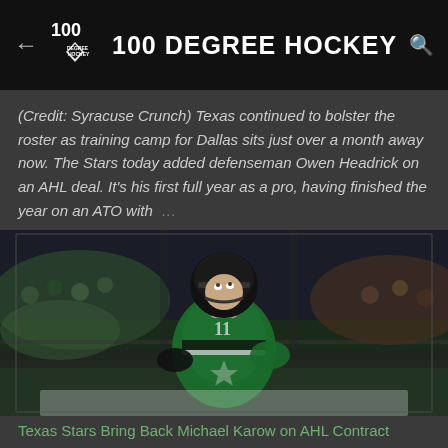100 DEGREE HOCKEY
(Credit: Syracuse Crunch) Texas continued to bolster the roster as training camp for Dallas sits just over a month away now. The Stars today added defenseman Owen Headrick on an AHL deal. It's his first full year as a pro, having finished the year on an ATO with …
[Figure (photo): Hockey player wearing Dallas Stars green jersey #11 looking upward on the ice, with arena crowd in background]
Texas Stars Bring Back Michael Karow on AHL Contract
(Credit: Ross Bonander) The Stars announced Tuesday that they have signed defenseman Michael Karow to an AHL contract for